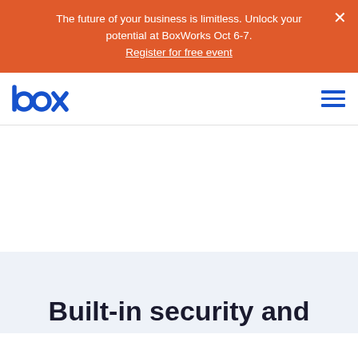The future of your business is limitless. Unlock your potential at BoxWorks Oct 6-7. Register for free event
[Figure (logo): Box logo in blue with stylized 'box' text]
Built-in security and